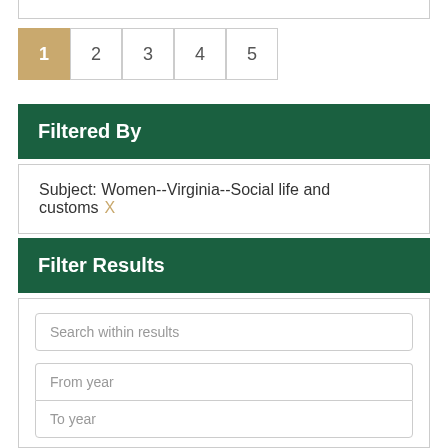1 2 3 4 5
Filtered By
Subject: Women--Virginia--Social life and customs X
Filter Results
Search within results
From year
To year